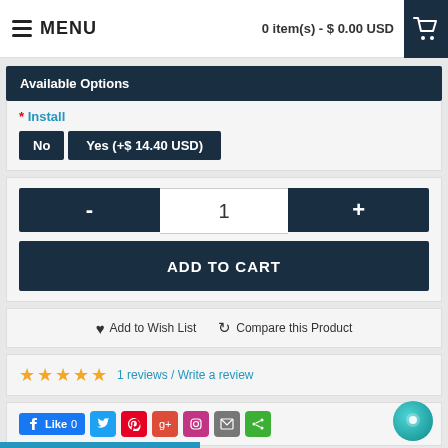MENU   0 item(s) - $ 0.00 USD
Available Options
* Install
No   Yes (+$ 14.40 USD)
- 1 +
ADD TO CART
♥ Add to Wish List   ↻ Compare this Product
★★★★★ 1 reviews / Write a review
👍 Like 0   [social icons]